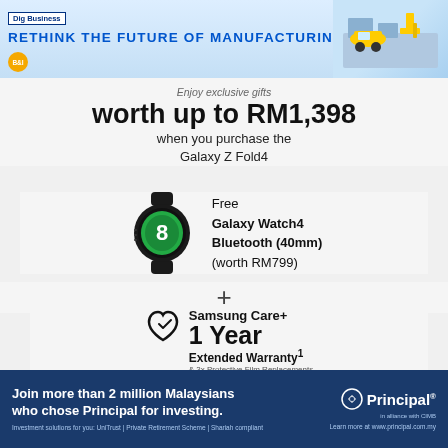RETHINK THE FUTURE OF MANUFACTURING
Enjoy exclusive gifts worth up to RM1,398 when you purchase the Galaxy Z Fold4
[Figure (photo): Samsung Galaxy Watch4 Bluetooth 40mm in black]
Free Galaxy Watch4 Bluetooth (40mm) (worth RM799)
+
[Figure (other): Samsung Care+ heart icon logo]
Samsung Care+ 1 Year Extended Warranty¹ & 3x Protective Film Replacements
+
[Figure (other): Trade-in arrow icon]
Trade in and own the Galaxy Z Series
Join more than 2 million Malaysians who chose Principal for investing. Investment solutions for you: UniTrust | Private Retirement Scheme | Shariah-compliant. Learn more at www.principal.com.my